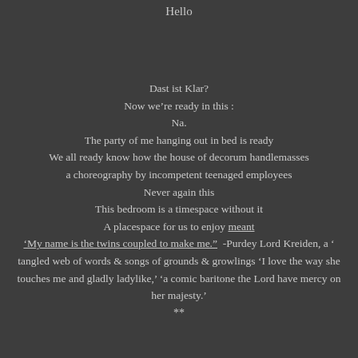Hello
Dast ist Klar?
Now we’re ready in this :
Na.
The party of me hanging out in bed is ready
We all ready know how the house of decorum handlemasses
a choreography by incompetent teenaged employees
Never again this
This bedroom is a timespace without it
A placespace for us to enjoy meant
‘My name is the twins coupled to make me.”  -Purdey Lord Kreiden, a ‘ tangled web of words & songs of grounds & growlings ‘I love the way she touches me and gladly ladylike,’ ‘a comic baritone the Lord have mercy on her majesty.’
**